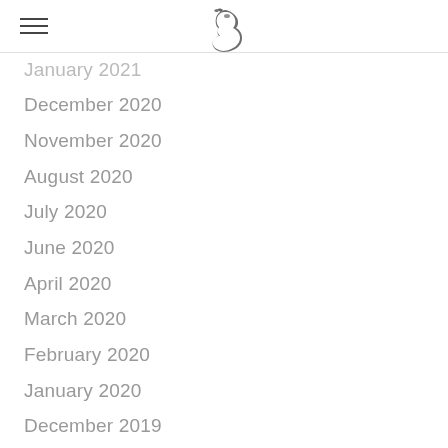[hamburger menu] [horse logo]
January 2021
December 2020
November 2020
August 2020
July 2020
June 2020
April 2020
March 2020
February 2020
January 2020
December 2019
November 2019
October 2019
September 2019
August 2019
June 2019
April 2019
October 2018
July 2018